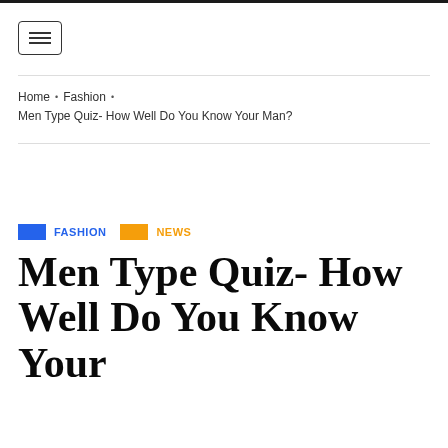Home • Fashion • Men Type Quiz- How Well Do You Know Your Man?
FASHION   NEWS
Men Type Quiz- How Well Do You Know Your